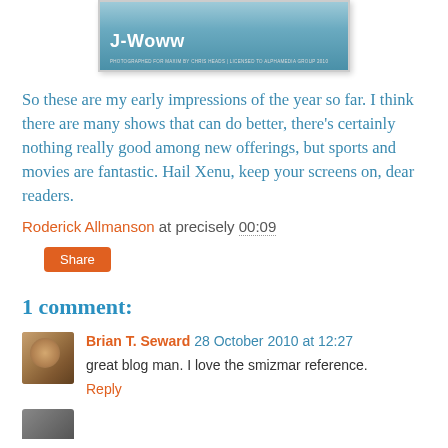[Figure (photo): J-Woww promotional photo with blue/teal background and text 'PHOTOGRAPHED FOR MAXIM BY CHRIS HEADS | LICENSED TO ALPHAMEDIA GROUP 2010']
So these are my early impressions of the year so far. I think there are many shows that can do better, there's certainly nothing really good among new offerings, but sports and movies are fantastic. Hail Xenu, keep your screens on, dear readers.
Roderick Allmanson at precisely 00:09
Share
1 comment:
Brian T. Seward 28 October 2010 at 12:27
great blog man. I love the smizmar reference.
Reply